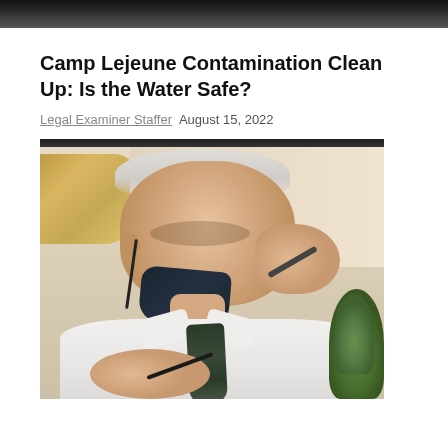[Figure (photo): Top cropped image strip showing dark background, partial photo from previous section]
Camp Lejeune Contamination Clean Up: Is the Water Safe?
Legal Examiner Staffer  August 15, 2022
[Figure (photo): Photo of an elderly man in a white shirt with a dark tie and face mask pulled down, leaning on his hand while writing, with a plant in the background]